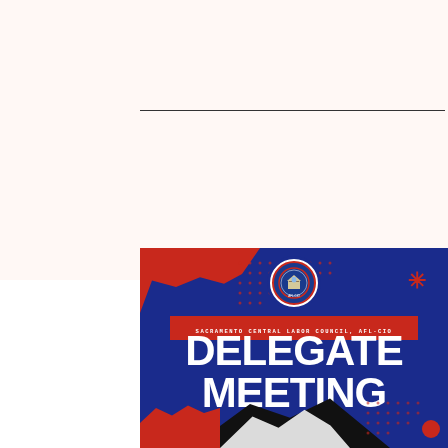[Figure (infographic): Sacramento Central Labor Council AFL-CIO Delegate Meeting flyer. Dark navy blue background with red and cream torn paper accents in top-left corner. Circular AFL-CIO Sacramento Central Labor Council logo centered at top. Red banner reading 'SACRAMENTO CENTRAL LABOR COUNCIL, AFL-CIO'. Large bold white text reading 'DELEGATE MEETING'. Red asterisk decoration top-right. Mountain silhouettes at bottom. Red circle bottom-right corner.]